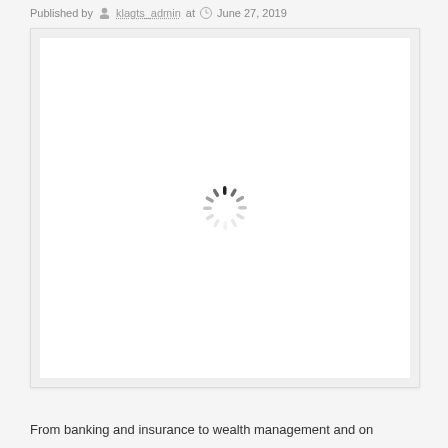Published by klagts_admin at June 27, 2019
[Figure (screenshot): A large white image area with a loading spinner (circular loading indicator) centered in the middle, shown against a light gray background with a thin border.]
From banking and insurance to wealth management and on